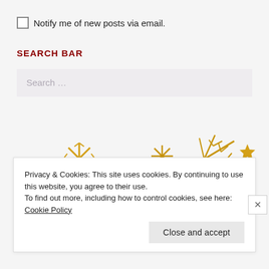Notify me of new posts via email.
SEARCH BAR
Search ...
[Figure (illustration): Decorative golden snowflakes and stars arranged as a festive decoration.]
Privacy & Cookies: This site uses cookies. By continuing to use this website, you agree to their use.
To find out more, including how to control cookies, see here: Cookie Policy
Close and accept